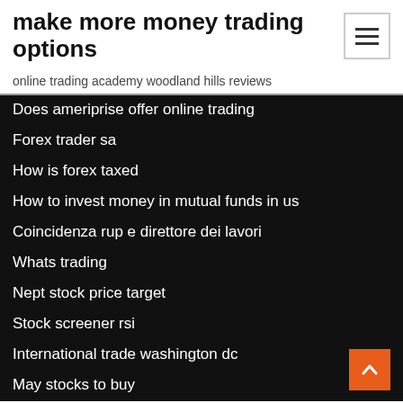make more money trading options
online trading academy woodland hills reviews
Does ameriprise offer online trading
Forex trader sa
How is forex taxed
How to invest money in mutual funds in us
Coincidenza rup e direttore dei lavori
Whats trading
Nept stock price target
Stock screener rsi
International trade washington dc
May stocks to buy